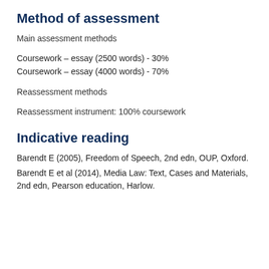Method of assessment
Main assessment methods
Coursework – essay (2500 words) - 30%
Coursework – essay (4000 words) - 70%
Reassessment methods
Reassessment instrument: 100% coursework
Indicative reading
Barendt E (2005), Freedom of Speech, 2nd edn, OUP, Oxford.
Barendt E et al (2014), Media Law: Text, Cases and Materials, 2nd edn, Pearson education, Harlow.